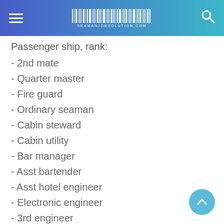seamanjobsolution.com
Passenger ship, rank:
- 2nd mate
- Quarter master
- Fire guard
- Ordinary seaman
- Cabin steward
- Cabin utility
- Bar manager
- Asst bartender
- Asst hotel engineer
- Electronic engineer
- 3rd engineer
- Engine storekeeper
- Engine foreman
- Machinist